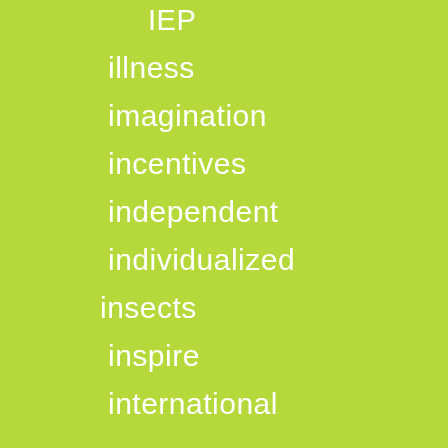IEP
illness
imagination
incentives
independent
individualized
insects
inspire
international